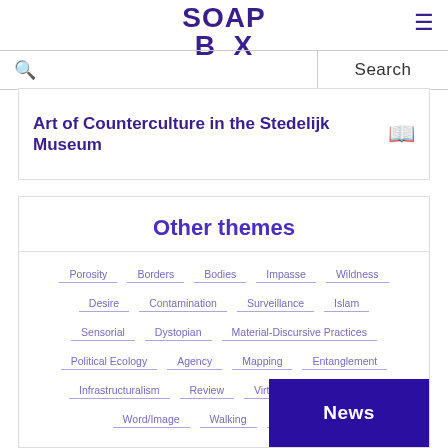SOAP BOX
Art of Counterculture in the Stedelijk Museum
Other themes
Porosity
Borders
Bodies
Impasse
Wildness
Desire
Contamination
Surveillance
Islam
Sensorial
Dystopian
Material-Discursive Practices
Political Ecology
Agency
Mapping
Entanglement
Infrastructuralism
Review
Virtual Reality
Zine
Word/Image
Walking
Visual M...